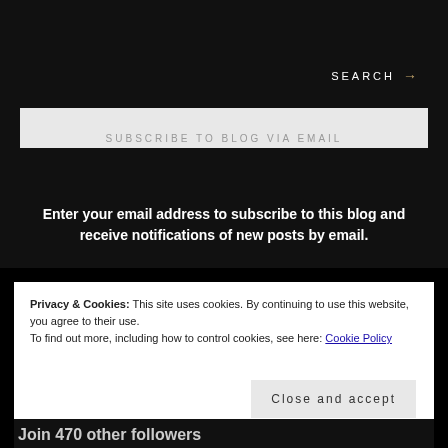SEARCH →
SUBSCRIBE TO BLOG VIA EMAIL
Enter your email address to subscribe to this blog and receive notifications of new posts by email.
Privacy & Cookies: This site uses cookies. By continuing to use this website, you agree to their use.
To find out more, including how to control cookies, see here: Cookie Policy
Close and accept
Join 470 other followers